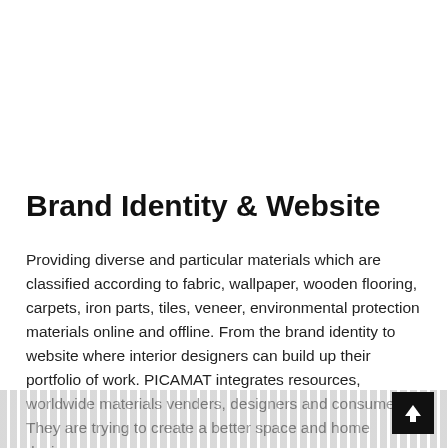Brand Identity & Website
Providing diverse and particular materials which are classified according to fabric, wallpaper, wooden flooring, carpets, iron parts, tiles, veneer, environmental protection materials online and offline. From the brand identity to website where interior designers can build up their portfolio of work. PICAMAT integrates resources, worldwide materials venders, designers and consumer. They are trying to create a better space and home design.